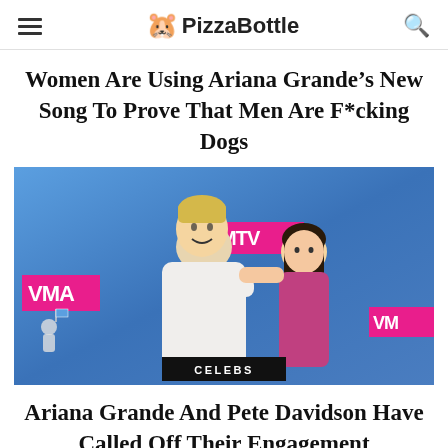PizzaBottle
Women Are Using Ariana Grande’s New Song To Prove That Men Are F*cking Dogs
[Figure (photo): Photo of two people at MTV VMAs red carpet event, with MTV logos in background. A label 'CELEBS' appears at the bottom of the image.]
Ariana Grande And Pete Davidson Have Called Off Their Engagement